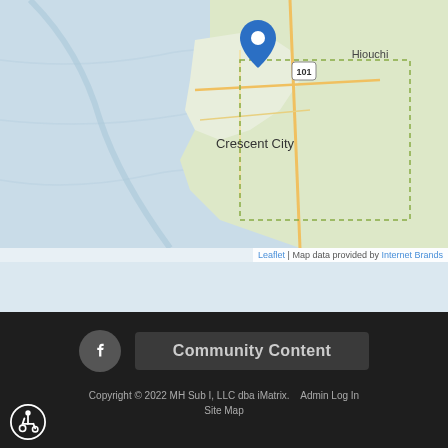[Figure (map): Map showing Crescent City, California area with a blue location pin marker. Shows Highway 101, Hiouchi label to the northeast, Pacific Ocean (blue) to the west, and surrounding green terrain. Leaflet map with Internet Brands data attribution.]
Leaflet | Map data provided by Internet Brands
[Figure (logo): Facebook icon — circular dark grey button with white 'f' letter]
Community Content
Copyright © 2022 MH Sub I, LLC dba iMatrix.  Admin Log In  Site Map
[Figure (illustration): Accessibility icon — white wheelchair user symbol inside a circle outline]